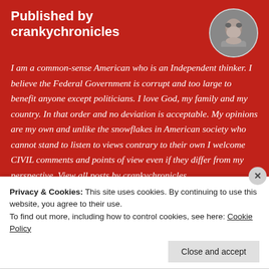Published by crankychronicles
[Figure (photo): Circular avatar photo of a middle-aged man with gray hair]
I am a common-sense American who is an Independent thinker. I believe the Federal Government is corrupt and too large to benefit anyone except politicians. I love God, my family and my country. In that order and no deviation is acceptable. My opinions are my own and unlike the snowflakes in American society who cannot stand to listen to views contrary to their own I welcome CIVIL comments and points of view even if they differ from my perspective. View all posts by crankychronicles
Privacy & Cookies: This site uses cookies. By continuing to use this website, you agree to their use.
To find out more, including how to control cookies, see here: Cookie Policy
Close and accept